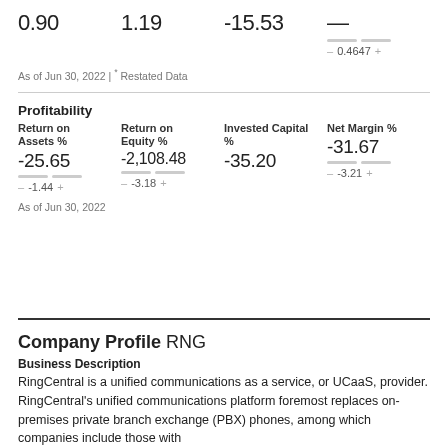0.90   1.19   -15.53   —
— 0.4647 +
As of Jun 30, 2022 | * Restated Data
Profitability
Return on Assets %  -25.65
Return on Equity %  -2,108.48
Invested Capital %  -35.20
Net Margin %  -31.67
— -1.44 +   — -3.18 +   — -3.21 +
As of Jun 30, 2022
Company Profile RNG
Business Description
RingCentral is a unified communications as a service, or UCaaS, provider. RingCentral's unified communications platform foremost replaces on-premises private branch exchange (PBX) phones, among which companies include those with...